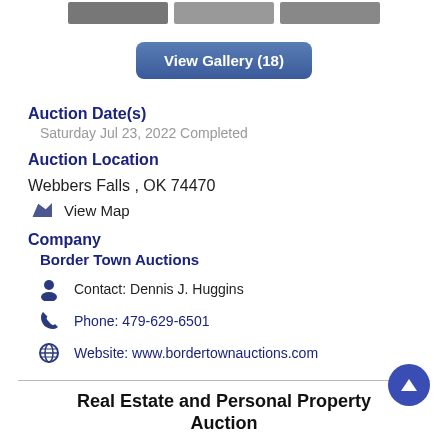[Figure (photo): Three thumbnail images at top of page]
View Gallery (18)
Auction Date(s)
Saturday Jul 23, 2022 Completed
Auction Location
Webbers Falls , OK 74470
View Map
Company
Border Town Auctions
Contact: Dennis J. Huggins
Phone: 479-629-6501
Website: www.bordertownauctions.com
Real Estate and Personal Property Auction